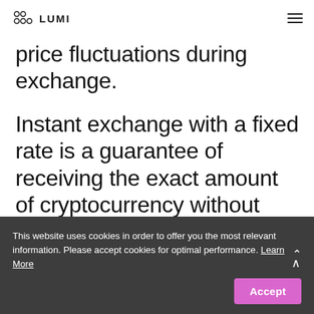LUMI
price fluctuations during exchange.
Instant exchange with a fixed rate is a guarantee of receiving the exact amount of cryptocurrency without hidden fees.
This website uses cookies in order to offer you the most relevant information. Please accept cookies for optimal performance. Learn More